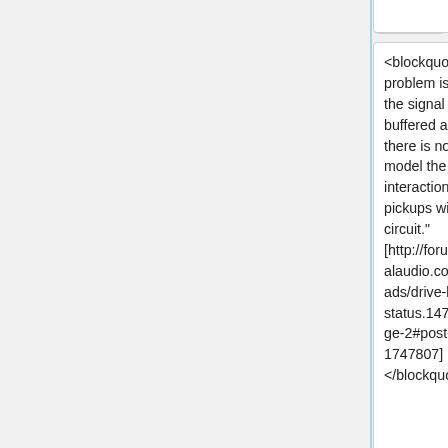<blockquote>"The problem is that the signal is buffered and there is no way to model the interaction of the pickups with the circuit." [http://forum.fractalaudio.com/threads/drive-block-status.147823/page-2#post-1747807] </blockquote>
<blockquote>"The problem is that the signal is buffered and there is no way to model the interaction of the pickups with the circuit." [http://forum.fractalaudio.com/threads/drive-block-status.147823/page-2#post-1747807] </blockquote>
<blockquote>"It's impossible to get a buffered